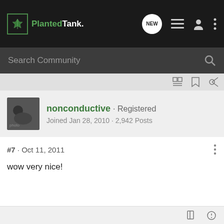PlantedTank.net
Search Community
nonconductive · Registered
Joined Jan 28, 2010 · 2,942 Posts
#7 · Oct 11, 2011
wow very nice!
125g Mud tank.
(A)narchy Love